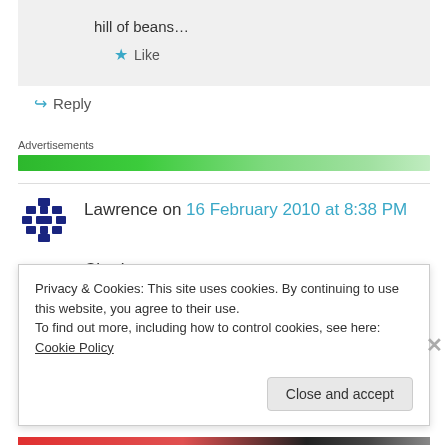hill of beans…
★ Like
↪ Reply
Advertisements
[Figure (other): Green advertisement bar/banner]
Lawrence on 16 February 2010 at 8:38 PM
Charles
Privacy & Cookies: This site uses cookies. By continuing to use this website, you agree to their use.
To find out more, including how to control cookies, see here: Cookie Policy